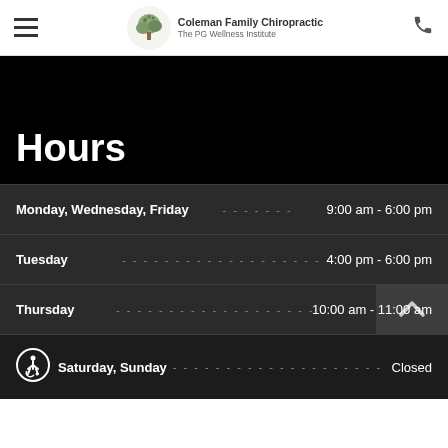Coleman Family Chiropractic The PG Wellness Institute
Hours
| Day |  | Hours |
| --- | --- | --- |
| Monday, Wednesday, Friday | ------- | 9:00 am - 6:00 pm |
| Tuesday | ..................... | 4:00 pm - 6:00 pm |
| Thursday | ..................... | 10:00 am - 11:00 am |
| Saturday, Sunday | ..................... | Closed |